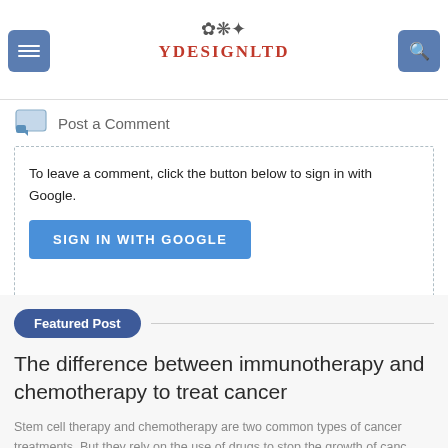Comments
[Figure (screenshot): Navigation bar with hamburger menu button, YDESIGNLTD logo with decorative icon, and search button]
Post a Comment
To leave a comment, click the button below to sign in with Google.
SIGN IN WITH GOOGLE
Featured Post
The difference between immunotherapy and chemotherapy to treat cancer
Stem cell therapy and chemotherapy are two common types of cancer treatments. But they rely on the use of drugs to stop the growth of canc….